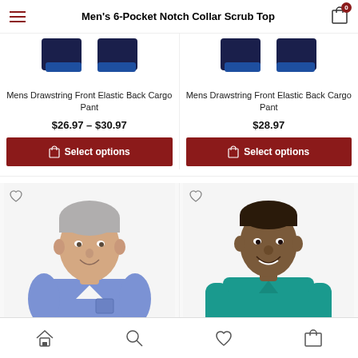Men's 6-Pocket Notch Collar Scrub Top
Mens Drawstring Front Elastic Back Cargo Pant
$26.97 – $30.97
Select options
Mens Drawstring Front Elastic Back Cargo Pant
$28.97
Select options
[Figure (photo): Man wearing blue/periwinkle v-neck scrub top]
[Figure (photo): Man wearing teal long-sleeve notch collar scrub top]
Home, Search, Wishlist, Cart navigation icons